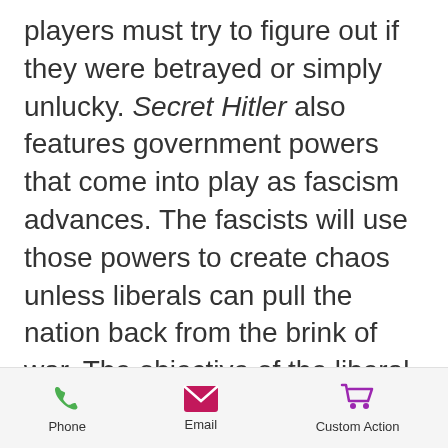players must try to figure out if they were betrayed or simply unlucky. Secret Hitler also features government powers that come into play as fascism advances. The fascists will use those powers to create chaos unless liberals can pull the nation back from the brink of war. The objective of the liberal team is to pass five liberal policies or assassinate Secret Hitler. The objective of the fascist team is to pass six fascist policies or elect Secret Hitler chancellor after three fascist policies have
Phone | Email | Custom Action